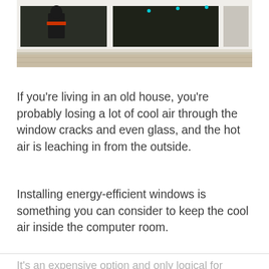[Figure (photo): Photo of white window frames on a house with brick exterior. A person in dark clothing with an orange/red element is visible through the left pane. Dark glass panes visible. Cyan dots visible in the panes.]
If you’re living in an old house, you’re probably losing a lot of cool air through the window cracks and even glass, and the hot air is leaching in from the outside.
Installing energy-efficient windows is something you can consider to keep the cool air inside the computer room.
It’s an expensive option and only logical for